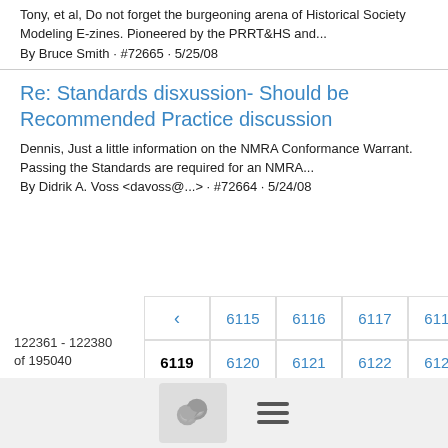Tony, et al, Do not forget the burgeoning arena of Historical Society Modeling E-zines. Pioneered by the PRRT&HS and...
By Bruce Smith · #72665 · 5/25/08
Re: Standards disxussion- Should be Recommended Practice discussion
Dennis, Just a little information on the NMRA Conformance Warrant. Passing the Standards are required for an NMRA...
By Didrik A. Voss <davoss@...> · #72664 · 5/24/08
122361 - 122380 of 195040
Pagination: < 6115 6116 6117 6118 | 6119 6120 6121 6122 6123 | >